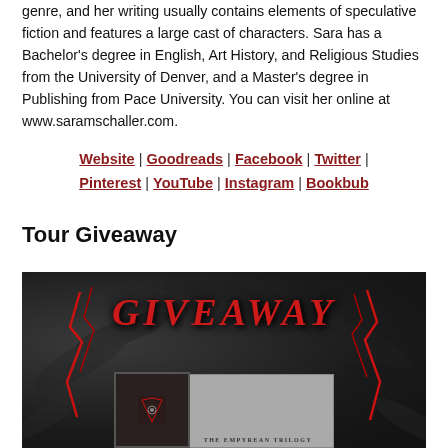genre, and her writing usually contains elements of speculative fiction and features a large cast of characters. Sara has a Bachelor's degree in English, Art History, and Religious Studies from the University of Denver, and a Master's degree in Publishing from Pace University. You can visit her online at www.saramschaller.com.
Website | Goodreads | Facebook | Twitter | Pinterest | YouTube | Instagram | Bookbub
Tour Giveaway
[Figure (illustration): Giveaway promotional image with dark feather background, large red italic text reading GIVEAWAY, and two books at the bottom — a dark book on the left with a crest emblem and a grey/silver book on the right labeled THE EMPYREAN TRILOGY.]